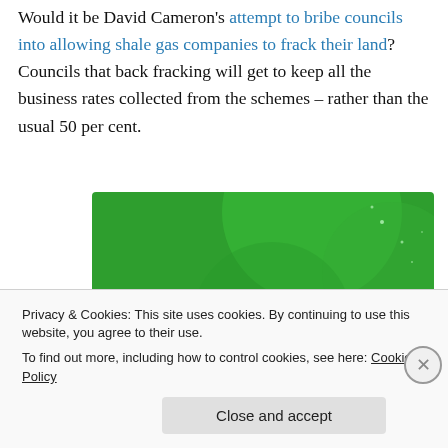Would it be David Cameron's attempt to bribe councils into allowing shale gas companies to frack their land? Councils that back fracking will get to keep all the business rates collected from the schemes – rather than the usual 50 per cent.
[Figure (illustration): Green advertisement banner for WordPress backup plugin reading 'The best real-time WordPress backup plugin']
Privacy & Cookies: This site uses cookies. By continuing to use this website, you agree to their use.
To find out more, including how to control cookies, see here: Cookie Policy